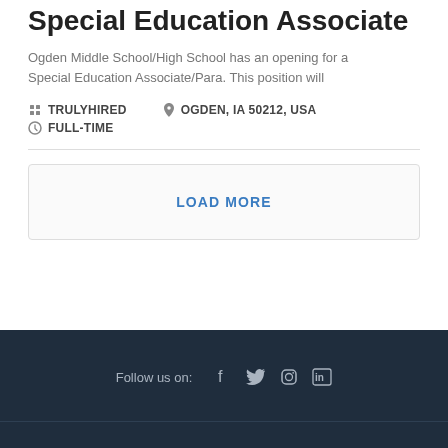Special Education Associate
Ogden Middle School/High School has an opening for a Special Education Associate/Para. This position will
TRULYHIRED   OGDEN, IA 50212, USA   FULL-TIME
LOAD MORE
Follow us on: